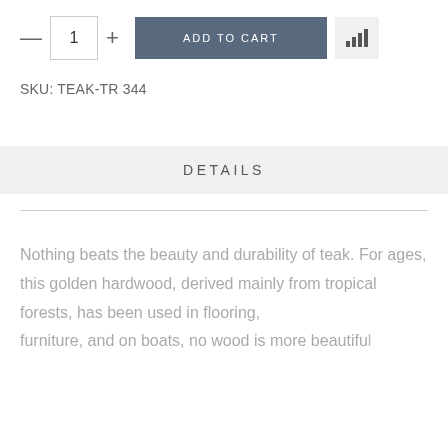— 1 + ADD TO CART [signal icon]
SKU: TEAK-TR 344
DETAILS
Nothing beats the beauty and durability of teak. For ages, this golden hardwood, derived mainly from tropical forests, has been used in flooring, furniture, and on boats, no wood is more beautiful